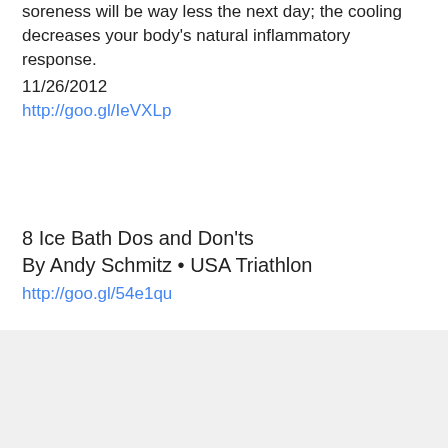soreness will be way less the next day; the cooling decreases your body's natural inflammatory response.
11/26/2012
http://goo.gl/IeVXLp
8 Ice Bath Dos and Don'ts
By Andy Schmitz • USA Triathlon
http://goo.gl/54e1qu
at June 09, 2016
Share
Home
View web version
Powered by Blogger.